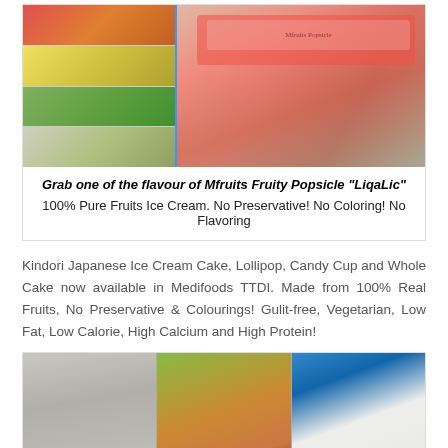[Figure (photo): Top image showing a menu board with food items on the left side (Thai/Asian food images), and a hand holding a pink/red Mfruits Fruity Popsicle LiqaLic wrapper on the right, with a green/teal background]
Grab one of the flavour of Mfruits Fruity Popsicle "LiqaLic"
100% Pure Fruits Ice Cream. No Preservative! No Coloring! No Flavoring
Kindori Japanese Ice Cream Cake, Lollipop, Candy Cup and Whole Cake now available in Medifoods TTDI. Made from 100% Real Fruits, No Preservative & Colourings! Gulit-free, Vegetarian, Low Fat, Low Calorie, High Calcium and High Protein!
[Figure (photo): Bottom image collage: left panel shows a refrigerator/display case with ice cream products, center panel shows two young children sitting at a table, right panel shows a bright store interior with ceiling lights]